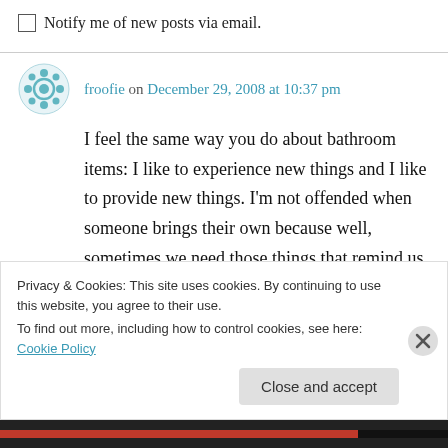Notify me of new posts via email.
froofie on December 29, 2008 at 10:37 pm
I feel the same way you do about bathroom items: I like to experience new things and I like to provide new things. I'm not offended when someone brings their own because well, sometimes we need those things that remind us of home, or, in the case of my best friend, has
Privacy & Cookies: This site uses cookies. By continuing to use this website, you agree to their use.
To find out more, including how to control cookies, see here: Cookie Policy